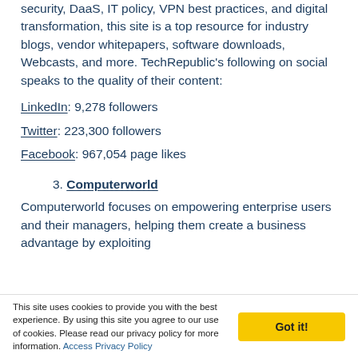security, DaaS, IT policy, VPN best practices, and digital transformation, this site is a top resource for industry blogs, vendor whitepapers, software downloads, Webcasts, and more. TechRepublic's following on social speaks to the quality of their content:
LinkedIn: 9,278 followers
Twitter: 223,300 followers
Facebook: 967,054 page likes
3. Computerworld
Computerworld focuses on empowering enterprise users and their managers, helping them create a business advantage by exploiting
This site uses cookies to provide you with the best experience. By using this site you agree to our use of cookies. Please read our privacy policy for more information. Access Privacy Policy